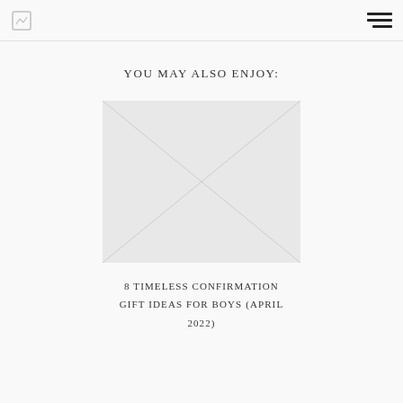YOU MAY ALSO ENJOY:
[Figure (photo): Placeholder image area (image not loaded)]
8 TIMELESS CONFIRMATION GIFT IDEAS FOR BOYS (APRIL 2022)